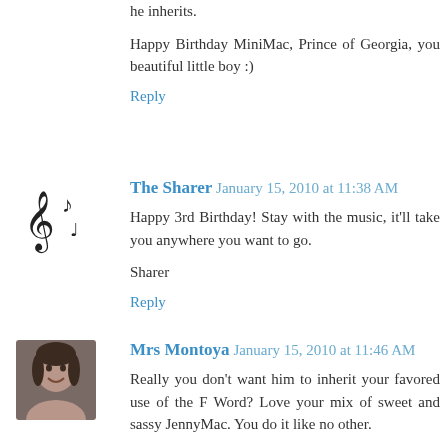he inherits.
Happy Birthday MiniMac, Prince of Georgia, you beautiful little boy :)
Reply
The Sharer  January 15, 2010 at 11:38 AM
Happy 3rd Birthday! Stay with the music, it'll take you anywhere you want to go.
Sharer
Reply
Mrs Montoya  January 15, 2010 at 11:46 AM
Really you don't want him to inherit your favored use of the F Word? Love your mix of sweet and sassy JennyMac. You do it like no other.
Happy 3rd Birthday, Little Man! The world is wide open for